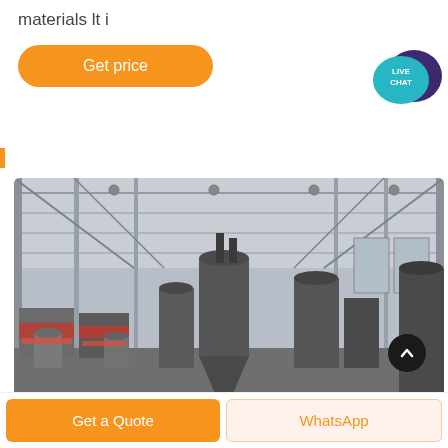materials lt i
[Figure (screenshot): Orange 'Get price' button with rounded corners on white background]
[Figure (illustration): Live Chat widget with teal speech bubble and dark purple speech bubble icon]
[Figure (photo): Interior of a large industrial factory/manufacturing plant with high steel roof structure, large grinding mills and industrial machinery equipment on the floor]
[Figure (screenshot): Dark circular scroll-to-top button with upward chevron arrow]
[Figure (screenshot): Bottom navigation bar with orange 'Get a Quote' button and light orange 'WhatsApp' button]